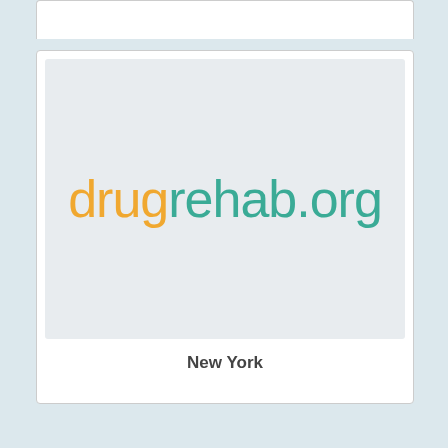[Figure (logo): drugrehab.org logo with 'drug' in orange/yellow and 'rehab.org' in teal, on a light gray background]
New York